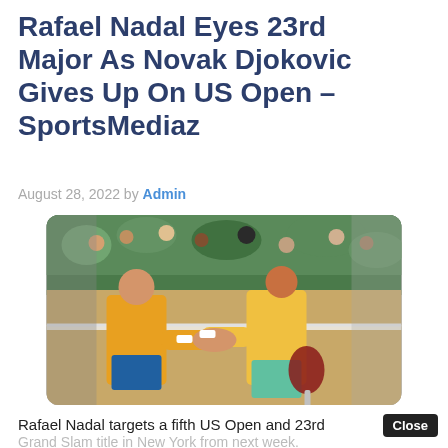Rafael Nadal Eyes 23rd Major As Novak Djokovic Gives Up On US Open – SportsMediaz
August 28, 2022 by Admin
[Figure (photo): Two tennis players shaking hands at the net on a clay court. One player wears an orange/yellow polo shirt, the other wears a white and orange outfit and holds a red tennis racket. Spectators and green stadium seating are visible in the background.]
Rafael Nadal targets a fifth US Open and 23rd
Grand Slam title in New York from next week.